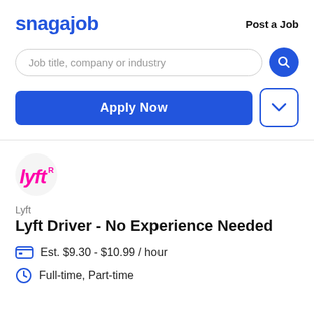snagajob   Post a Job
[Figure (screenshot): Search bar with placeholder text: Job title, company or industry, and a blue circular search button]
Apply Now
[Figure (logo): Lyft logo in pink on light gray circle background]
Lyft
Lyft Driver - No Experience Needed
Est. $9.30 - $10.99 / hour
Full-time, Part-time